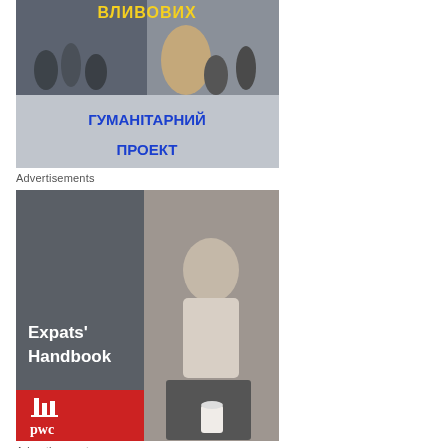[Figure (photo): Ukrainian humanitarian project banner with Cyrillic text in yellow and blue on grey background with crowd photos]
Advertisements
[Figure (photo): PwC Expats' Handbook advertisement showing elderly man sitting with coffee cup, with red PwC logo panel]
Advertisements